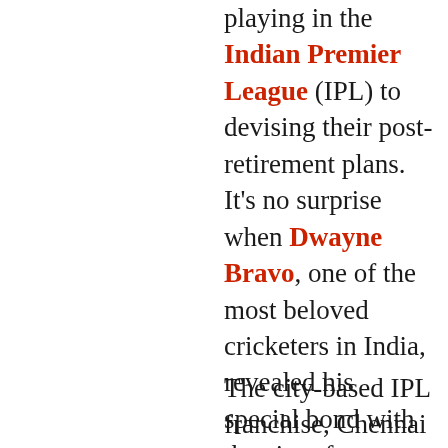playing in the Indian Premier League (IPL) to devising their post-retirement plans. It's no surprise when Dwayne Bravo, one of the most beloved cricketers in India, revealed his special bond with the city of Chennai. Such is his bonding with the city that Bravo wants to end his playing career there. But he knows, that's not in his "control". (More Cricket News)
The city-based IPL franchise, Chennai Super